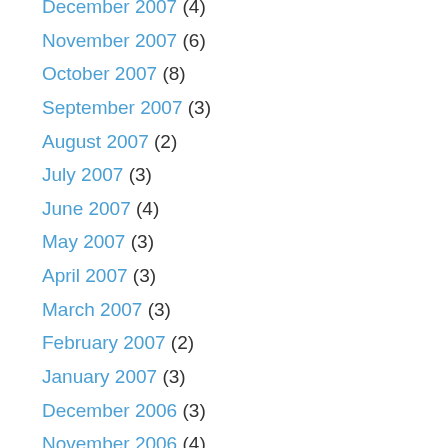December 2007 (4)
November 2007 (6)
October 2007 (8)
September 2007 (3)
August 2007 (2)
July 2007 (3)
June 2007 (4)
May 2007 (3)
April 2007 (3)
March 2007 (3)
February 2007 (2)
January 2007 (3)
December 2006 (3)
November 2006 (4)
October 2006 (7)